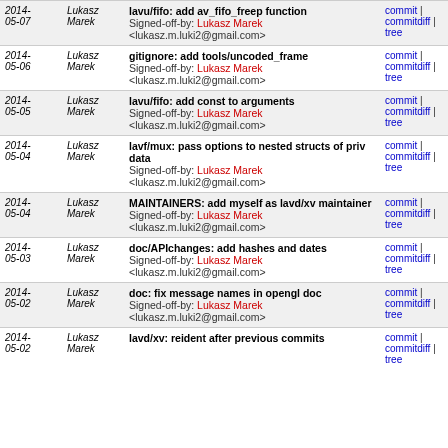| Date | Author | Message | Links |
| --- | --- | --- | --- |
| 2014-05-07 | Lukasz Marek | lavu/fifo: add av_fifo_freep function
Signed-off-by: Lukasz Marek <lukasz.m.luki2@gmail.com> | commit | commitdiff | tree |
| 2014-05-06 | Lukasz Marek | gitignore: add tools/uncoded_frame
Signed-off-by: Lukasz Marek <lukasz.m.luki2@gmail.com> | commit | commitdiff | tree |
| 2014-05-05 | Lukasz Marek | lavu/fifo: add const to arguments
Signed-off-by: Lukasz Marek <lukasz.m.luki2@gmail.com> | commit | commitdiff | tree |
| 2014-05-04 | Lukasz Marek | lavf/mux: pass options to nested structs of priv data
Signed-off-by: Lukasz Marek <lukasz.m.luki2@gmail.com> | commit | commitdiff | tree |
| 2014-05-04 | Lukasz Marek | MAINTAINERS: add myself as lavd/xv maintainer
Signed-off-by: Lukasz Marek <lukasz.m.luki2@gmail.com> | commit | commitdiff | tree |
| 2014-05-03 | Lukasz Marek | doc/APIchanges: add hashes and dates
Signed-off-by: Lukasz Marek <lukasz.m.luki2@gmail.com> | commit | commitdiff | tree |
| 2014-05-02 | Lukasz Marek | doc: fix message names in opengl doc
Signed-off-by: Lukasz Marek <lukasz.m.luki2@gmail.com> | commit | commitdiff | tree |
| 2014-05-02 | Lukasz Marek | lavd/xv: reident after previous commits | commit | commitdiff | tree |